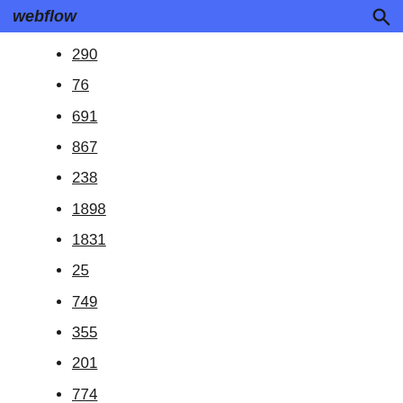webflow
290
76
691
867
238
1898
1831
25
749
355
201
774